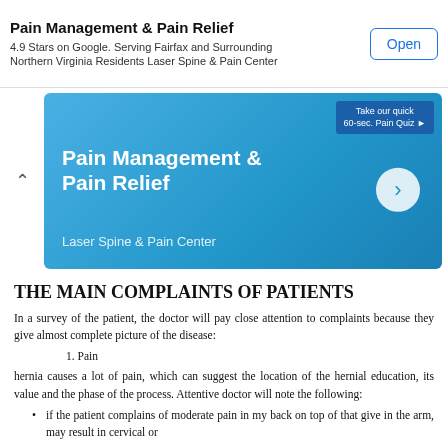Pain Management & Pain Relief
4.9 Stars on Google. Serving Fairfax and Surrounding Northern Virginia Residents Laser Spine & Pain Center
[Figure (screenshot): Blue promotional banner for Pain Management & Pain Relief - Laser Spine & Pain Center, with a quiz button and navigation arrow]
THE MAIN COMPLAINTS OF PATIENTS
In a survey of the patient, the doctor will pay close attention to complaints because they give almost complete picture of the disease:
1. Pain
hernia causes a lot of pain, which can suggest the location of the hernial education, its value and the phase of the process. Attentive doctor will note the following:
if the patient complains of moderate pain in my back on top of that give in the arm, may result in cervical or